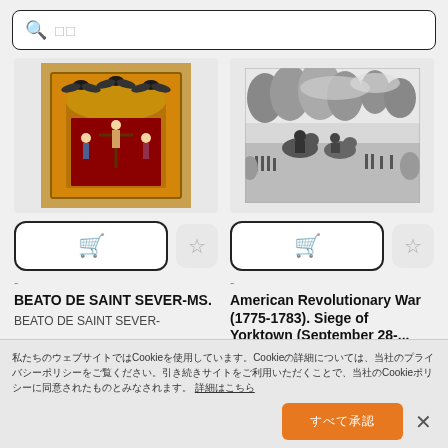[Figure (screenshot): Search bar with magnifying glass icon and placeholder text in Japanese/Chinese characters]
[Figure (illustration): Medieval illuminated manuscript image showing saints/religious figures with gold architectural frame and winged figures above]
[Figure (photo): Black and white historical engraving/illustration of the Siege of Yorktown battle scene with soldiers on horseback and fighting]
BEATO DE SAINT SEVER-MS.
BEATO DE SAINT SEVER-
American Revolutionary War (1775-1783). Siege of Yorktown (September 28-...
私たちのウェブサイトではCookieを使用しています。Cookieの詳細については、当社のプライバシーポリシーをご覧ください。引き続きサイトをご利用いただくことで、当社のCookieポリシーに同意されたものとみなされます。 詳細はこちら
すべて承認